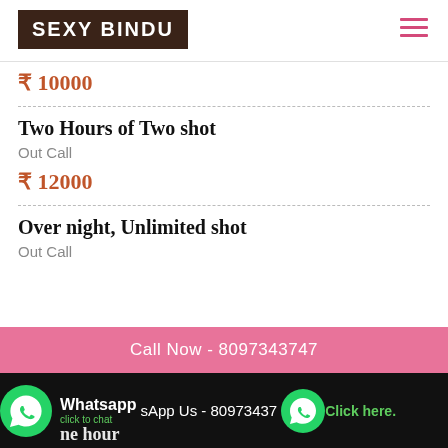SEXY BINDU
₹ 10000
Two Hours of Two shot
Out Call
₹ 12000
Over night, Unlimited shot
Out Call
Call Now - 8097343747
Whatsapp click to chat
sApp Us - 80973437
Click here.
ne hour